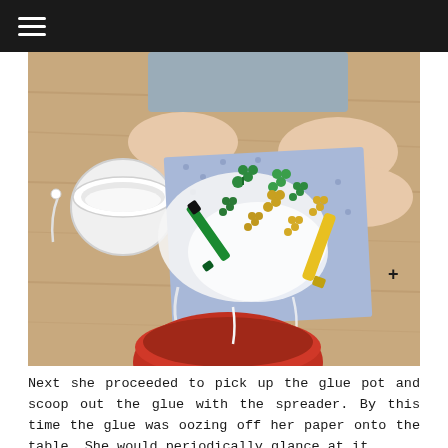☰
[Figure (photo): Overhead view of a child's hands working on a craft project on a wooden table. The child is spreading white glue with a green marker/spreader onto a blue polka-dot paper napkin covered with green and gold shamrock/clover confetti. A white glue pot is visible on the left, and a yellow spreader tool is held in the right hand. A red container is partially visible at the bottom of the image.]
Next she proceeded to pick up the glue pot and scoop out the glue with the spreader. By this time the glue was oozing off her paper onto the table. She would periodically glance at it